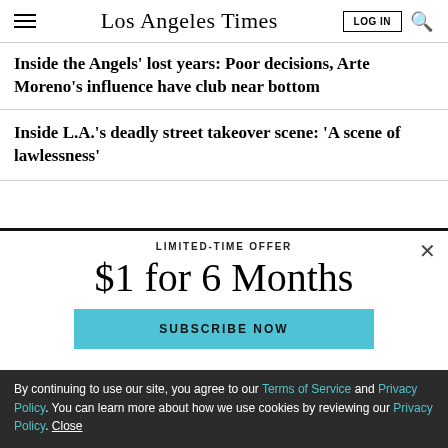Los Angeles Times
Inside the Angels' lost years: Poor decisions, Arte Moreno's influence have club near bottom
Inside L.A.'s deadly street takeover scene: 'A scene of lawlessness'
LIMITED-TIME OFFER
$1 for 6 Months
SUBSCRIBE NOW
By continuing to use our site, you agree to our Terms of Service and Privacy Policy. You can learn more about how we use cookies by reviewing our Privacy Policy. Close